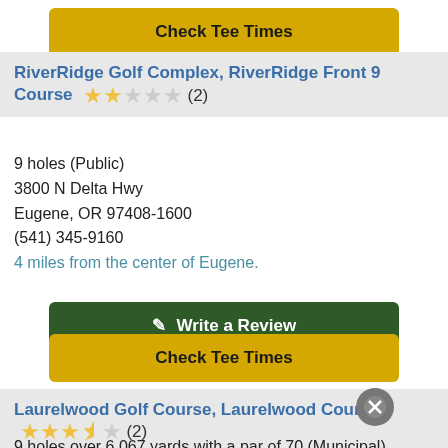[Figure (screenshot): Yellow 'Check Tee Times' button at top of page (partial)]
RiverRidge Golf Complex, RiverRidge Front 9 Course ★★☆☆☆ (2)
9 holes (Public)
3800 N Delta Hwy
Eugene, OR 97408-1600
(541) 345-9160
4 miles from the center of Eugene.
[Figure (screenshot): Dark green 'Write a Review' button with edit icon]
[Figure (screenshot): Yellow 'Check Tee Times' button]
Laurelwood Golf Course, Laurelwood Course ★★★½☆ (2)
9 holes over 6,067 yards with a par of 70 (Municipal)
2700 Columbia St
Eugene, OR 97408-1600